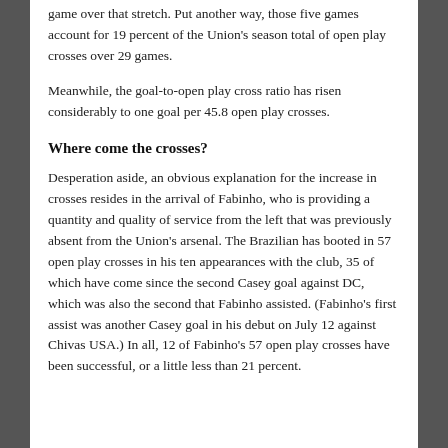game over that stretch. Put another way, those five games account for 19 percent of the Union's season total of open play crosses over 29 games.
Meanwhile, the goal-to-open play cross ratio has risen considerably to one goal per 45.8 open play crosses.
Where come the crosses?
Desperation aside, an obvious explanation for the increase in crosses resides in the arrival of Fabinho, who is providing a quantity and quality of service from the left that was previously absent from the Union's arsenal. The Brazilian has booted in 57 open play crosses in his ten appearances with the club, 35 of which have come since the second Casey goal against DC, which was also the second that Fabinho assisted. (Fabinho's first assist was another Casey goal in his debut on July 12 against Chivas USA.) In all, 12 of Fabinho's 57 open play crosses have been successful, or a little less than 21 percent.